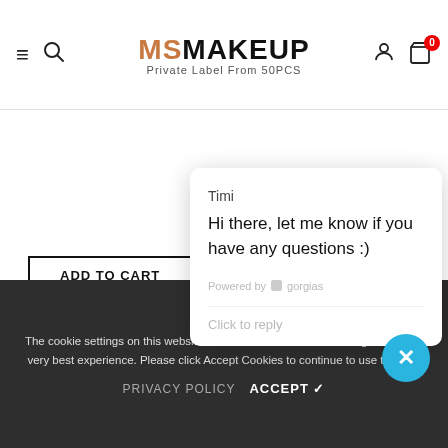[Figure (screenshot): MSMakeup website header with hamburger menu, search icon, logo 'MSMAKEUP Private Label From 50PCS', user icon, and cart icon with badge showing 0]
ADD TO CART
24 Colors Gold Customize...
★★★★★ 1 re...
$11.55  $6.40
[Figure (screenshot): Chat popup from Timi saying 'Hi there, let me know if you have any questions :)' powered by gorgias, with 'Click to reply' input]
The cookie settings on this website are set to 'allow all cookies' to give you the very best experience. Please click Accept Cookies to continue to use the site.
PRIVACY POLICY  ACCEPT ✓